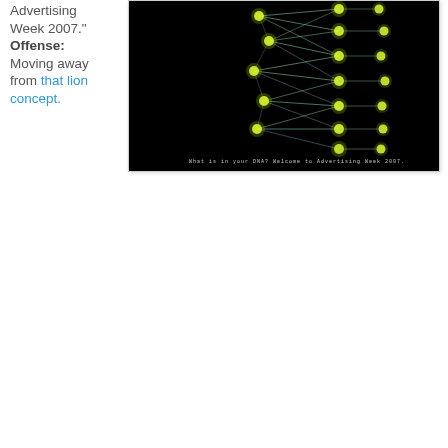Advertising Week 2007." Offense: Moving away from that lion concept.
[Figure (photo): Dark black background with a glowing network/DNA-like visualization showing interconnected nodes with yellow-green glowing lights connected by thin lines in a double-helix or network pattern. Text at the bottom reads: What is in your DNA? Welcome to Advertising Week 2007.]